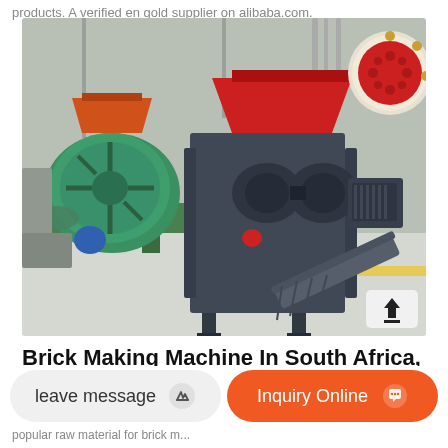products. A verified en gold supplier on alibaba.com.
[Figure (photo): Industrial brick making machine (briquette press) in a factory setting. A large teal/green mixer machine on the left, a central dark-grey double-roller press machine with red-hopper top, conveyor belt output at front-right, and a red/cream circular die plate visible in the top-right corner. Upload/share button in bottom-right of image.]
Brick Making Machine In South Africa, Cheap Price & High Quality
leave message
Inquiry Online
popular raw material for brick m...